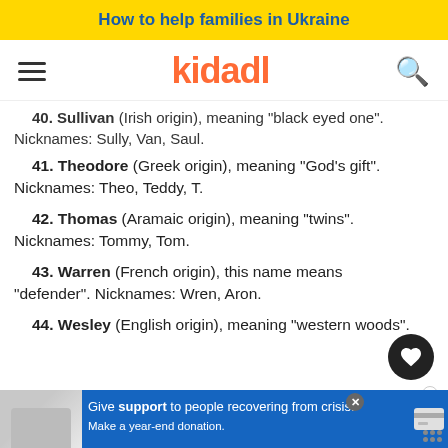How to help families in Ukraine
[Figure (logo): Kidadl logo with hamburger menu and search icon]
40. Sullivan (Irish origin), meaning "black eyed one". Nicknames: Sully, Van, Saul.
41. Theodore (Greek origin), meaning "God's gift". Nicknames: Theo, Teddy, T.
42. Thomas (Aramaic origin), meaning "twins". Nicknames: Tommy, Tom.
43. Warren (French origin), this name means "defender". Nicknames: Wren, Aron.
44. Wesley (English origin), meaning "western woods". Nicknames: ...